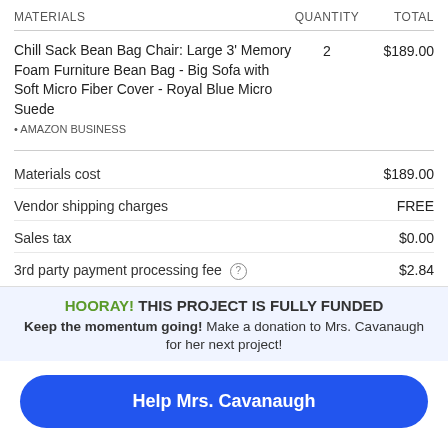| MATERIALS | QUANTITY | TOTAL |
| --- | --- | --- |
| Chill Sack Bean Bag Chair: Large 3' Memory Foam Furniture Bean Bag - Big Sofa with Soft Micro Fiber Cover - Royal Blue Micro Suede
• AMAZON BUSINESS | 2 | $189.00 |
|  |  |
| --- | --- |
| Materials cost | $189.00 |
| Vendor shipping charges | FREE |
| Sales tax | $0.00 |
| 3rd party payment processing fee (?) | $2.84 |
HOORAY! THIS PROJECT IS FULLY FUNDED
Keep the momentum going! Make a donation to Mrs. Cavanaugh for her next project!
Help Mrs. Cavanaugh